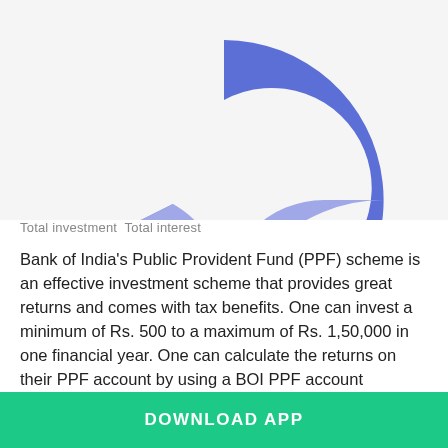[Figure (donut-chart): Partial donut chart showing two segments: a darker blue (total investment) and a lighter blue/periwinkle (total interest). Only the upper half of the donut is visible, cropped at the bottom.]
Total investmentTotal interest
Bank of India's Public Provident Fund (PPF) scheme is an effective investment scheme that provides great returns and comes with tax benefits. One can invest a minimum of Rs. 500 to a maximum of Rs. 1,50,000 in one financial year. One can calculate the returns on their PPF account by using a BOI PPF account calculator. A PPF account in the Bank of India can be opened by getting the account opening form, nomination form, and pay-in-slip. All the mentioned forms have to be submitted along with other documents required by the bank.
DOWNLOAD APP